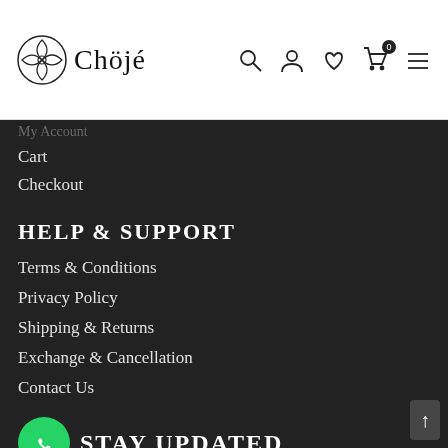Chojé — navigation bar with logo and icons
My Account (faded/partial)
Cart
Checkout
HELP & SUPPORT
Terms & Conditions
Privacy Policy
Shipping & Returns
Exchange & Cancellation
Contact Us
STAY UPDATED